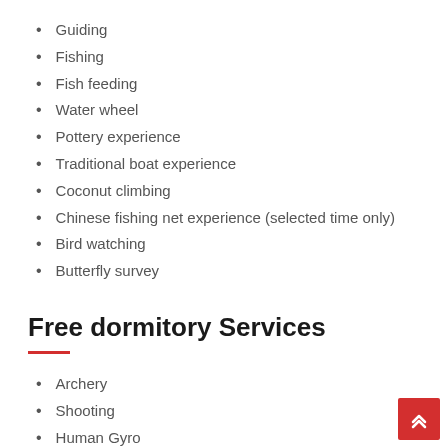Guiding
Fishing
Fish feeding
Water wheel
Pottery experience
Traditional boat experience
Coconut climbing
Chinese fishing net experience (selected time only)
Bird watching
Butterfly survey
Free dormitory Services
Archery
Shooting
Human Gyro
Go-Cart